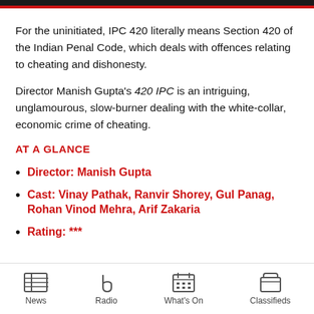For the uninitiated, IPC 420 literally means Section 420 of the Indian Penal Code, which deals with offences relating to cheating and dishonesty.
Director Manish Gupta's 420 IPC is an intriguing, unglamourous, slow-burner dealing with the white-collar, economic crime of cheating.
AT A GLANCE
Director: Manish Gupta
Cast: Vinay Pathak, Ranvir Shorey, Gul Panag, Rohan Vinod Mehra, Arif Zakaria
Rating: ***
News | Radio | What's On | Classifieds